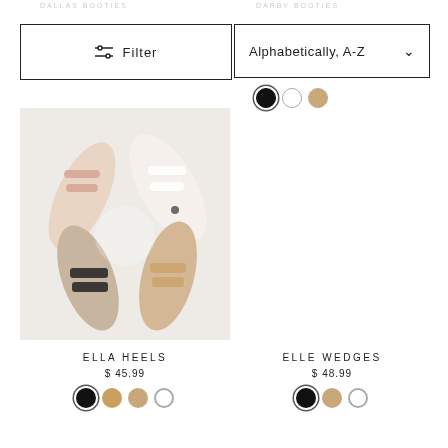DALLAS BOOTIES
DARBY BOOTIES
Filter
Alphabetically, A-Z
[Figure (photo): Overhead view of four pairs of feet wearing different sandal styles on a white background]
ELLA HEELS
$ 45.99
ELLE WEDGES
$ 48.99